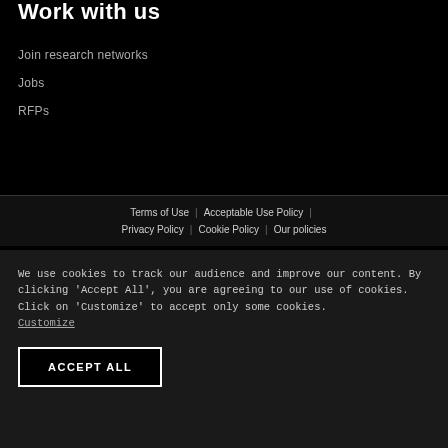Work with us
Join research networks
Jobs
RFPs
Terms of Use | Acceptable Use Policy | Privacy Policy | Cookie Policy | Our policies
We use cookies to track our audience and improve our content. By clicking 'Accept All', you are agreeing to our use of cookies. Click on 'Customize' to accept only some cookies. Customize
ACCEPT ALL